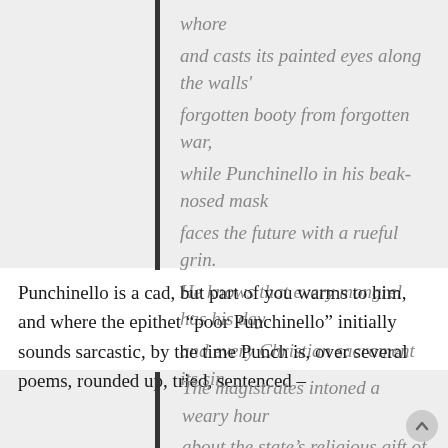whore
and casts its painted eyes along the walls'
forgotten booty from forgotten war,
while Punchinello in his beak-nosed mask
faces the future with a rueful grin.
He knows that every mongrel has his day
and every Christian sacrament its sin.
Punchinello is a cad, but part of you warms to him, and where the epithet “poor Punchinello” initially sounds sarcastic, by the time Punch is, over several poems, rounded up, tried, sentenced –
The magistrates intoned a weary hour
about the state’s religious gift of power,
the obligation of blind law to rule
[continues]